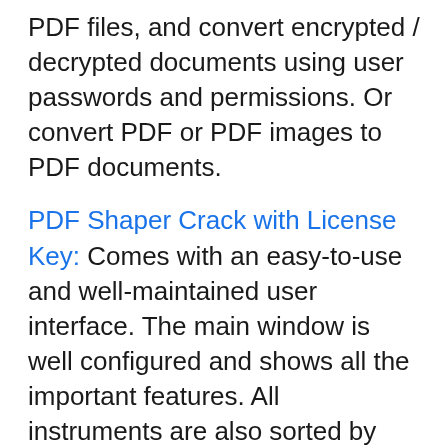PDF files, and convert encrypted / decrypted documents using user passwords and permissions. Or convert PDF or PDF images to PDF documents.
PDF Shaper Crack with License Key: Comes with an easy-to-use and well-maintained user interface. The main window is well configured and shows all the important features. All instruments are also sorted by movie menu according to the corresponding category. PDF Shaper Professional 2021 is a comprehensive application that provides you with fast and stable PDF processing algorithms and supports batch processing for processing multiple files at the same time. In addition, the app has advanced tools that allow users to delete or delete pages, rotate